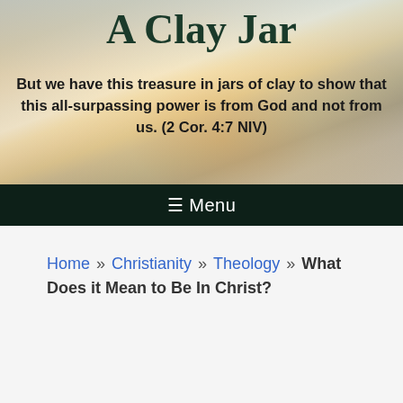A Clay Jar
But we have this treasure in jars of clay to show that this all-surpassing power is from God and not from us. (2 Cor. 4:7 NIV)
≡ Menu
Home » Christianity » Theology » What Does it Mean to Be In Christ?